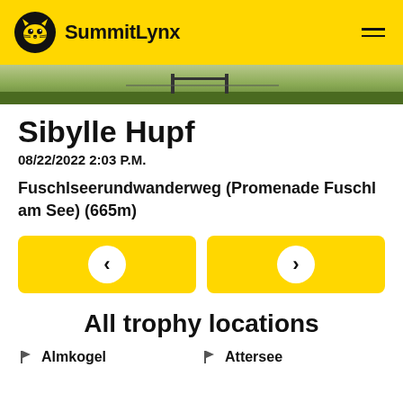SummitLynx
[Figure (photo): Outdoor nature scene, green grass and trees visible]
Sibylle Hupf
08/22/2022 2:03 P.M.
Fuschlseerundwanderweg (Promenade Fuschl am See) (665m)
[Figure (other): Navigation buttons: left arrow and right arrow]
All trophy locations
Almkogel
Attersee